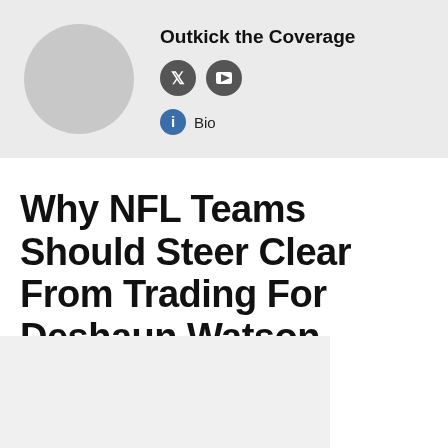[Figure (other): Avatar placeholder circle (gray) and publisher info block with name, social icons, and bio link]
Outkick the Coverage
Why NFL Teams Should Steer Clear From Trading For Deshaun Watson
[Figure (photo): Partially visible article image at the bottom of the page]